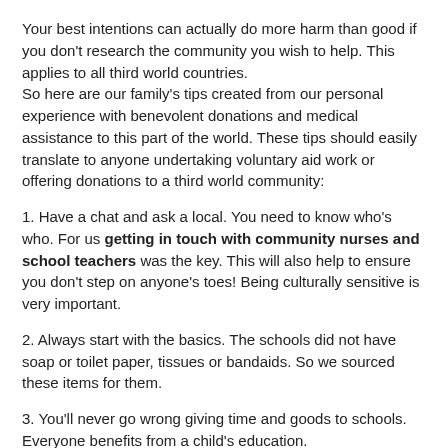Your best intentions can actually do more harm than good if you don't research the community you wish to help. This applies to all third world countries.
So here are our family's tips created from our personal experience with benevolent donations and medical assistance to this part of the world. These tips should easily translate to anyone undertaking voluntary aid work or offering donations to a third world community:
1. Have a chat and ask a local. You need to know who's who. For us getting in touch with community nurses and school teachers was the key. This will also help to ensure you don't step on anyone's toes! Being culturally sensitive is very important.
2. Always start with the basics. The schools did not have soap or toilet paper, tissues or bandaids. So we sourced these items for them.
3. You'll never go wrong giving time and goods to schools. Everyone benefits from a child's education.
4. Be aware of consumables and things that require batteries or servicing. For example the Fiji school had a pile of old printers they could not get ink for.